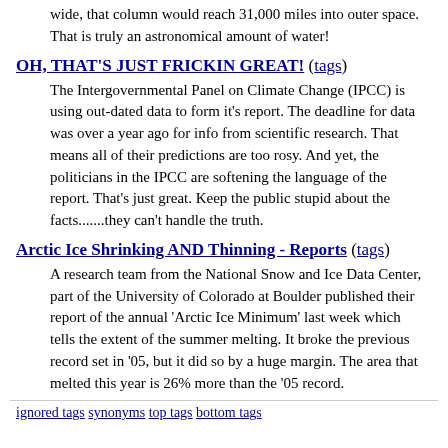wide, that column would reach 31,000 miles into outer space. That is truly an astronomical amount of water!
OH, THAT'S JUST FRICKIN GREAT! (tags)
The Intergovernmental Panel on Climate Change (IPCC) is using out-dated data to form it's report. The deadline for data was over a year ago for info from scientific research. That means all of their predictions are too rosy. And yet, the politicians in the IPCC are softening the language of the report. That's just great. Keep the public stupid about the facts.......they can't handle the truth.
Arctic Ice Shrinking AND Thinning - Reports (tags)
A research team from the National Snow and Ice Data Center, part of the University of Colorado at Boulder published their report of the annual 'Arctic Ice Minimum' last week which tells the extent of the summer melting. It broke the previous record set in '05, but it did so by a huge margin. The area that melted this year is 26% more than the '05 record.
ignored tags synonyms top tags bottom tags